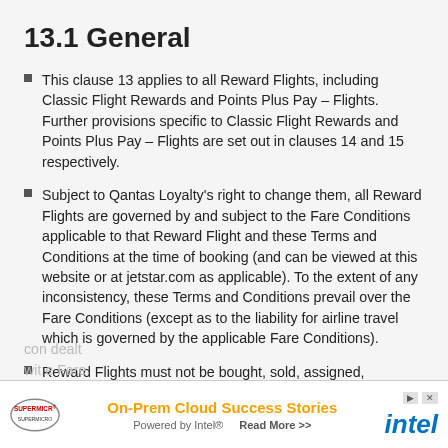13.1 General
This clause 13 applies to all Reward Flights, including Classic Flight Rewards and Points Plus Pay – Flights. Further provisions specific to Classic Flight Rewards and Points Plus Pay – Flights are set out in clauses 14 and 15 respectively.
Subject to Qantas Loyalty's right to change them, all Reward Flights are governed by and subject to the Fare Conditions applicable to that Reward Flight and these Terms and Conditions at the time of booking (and can be viewed at this website or at jetstar.com as applicable). To the extent of any inconsistency, these Terms and Conditions prevail over the Fare Conditions (except as to the liability for airline travel which is governed by the applicable Fare Conditions).
Reward Flights must not be bought, sold, assigned, transferred or acquired other than in accordance with these Terms and Conditions and the applicable Fare Conditions. Qantas or Qantas Loyalty may cancel [cont.] dealt with [...] e Fare
[Figure (other): Advertisement banner: Supermicro logo with text 'On-Prem Cloud Success Stories Powered by Intel Read More >>' and Intel logo]